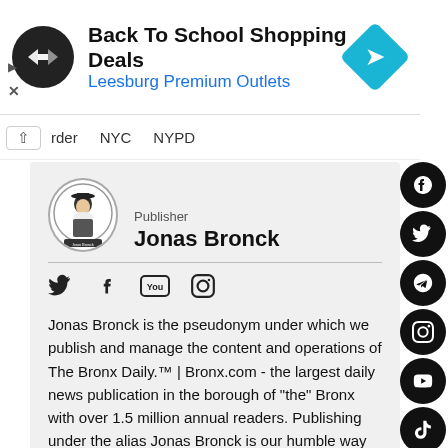[Figure (infographic): Advertisement banner: Back To School Shopping Deals, Leesburg Premium Outlets, with circular dark logo and blue diamond arrow icon]
rder   NYC   NYPD
Publisher
Jonas Bronck
[Figure (logo): Jonas Bronck circular publisher logo with historical figure illustration]
[Figure (infographic): Social media icons: Twitter, Facebook, YouTube, Instagram]
Jonas Bronck is the pseudonym under which we publish and manage the content and operations of The Bronx Daily.™ | Bronx.com - the largest daily news publication in the borough of "the" Bronx with over 1.5 million annual readers. Publishing under the alias Jonas Bronck is our humble way of paying tribute to the person, whose name lives on in the name of our